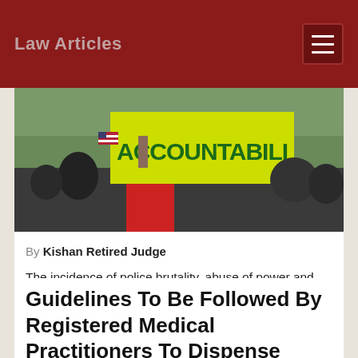Law Articles
[Figure (photo): Protest scene with person holding a yellow/green sign reading 'ACCOUNTABILI...' (accountability), crowd in background outdoors]
By Kishan Retired Judge
The incidence of police brutality, abuse of power and pre-trial detention in India has always remained a serious issue of human rights violations and has increased manifold in the recent past. Th...
Guidelines To Be Followed By Registered Medical Practitioners To Dispense Med...